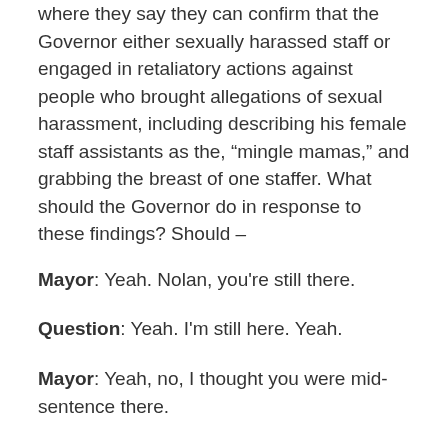where they say they can confirm that the Governor either sexually harassed staff or engaged in retaliatory actions against people who brought allegations of sexual harassment, including describing his female staff assistants as the, “mingle mamas,” and grabbing the breast of one staffer. What should the Governor do in response to these findings? Should –
Mayor: Yeah. Nolan, you're still there.
Question: Yeah. I'm still here. Yeah.
Mayor: Yeah, no, I thought you were mid-sentence there.
Question: No, no, I cut off. I think that’s – I think “mingle mamas” is enough.
Mayor: Yeah. I – look, having said very clearly, I've not